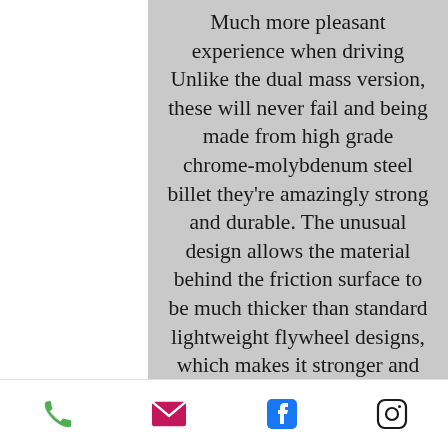Much more pleasant experience when driving Unlike the dual mass version, these will never fail and being made from high grade chrome-molybdenum steel billet they're amazingly strong and durable. The unusual design allows the material behind the friction surface to be much thicker than standard lightweight flywheel designs, which makes it stronger and with much more thermal mass - this pulls heat away from the
Phone | Email | Facebook | Instagram